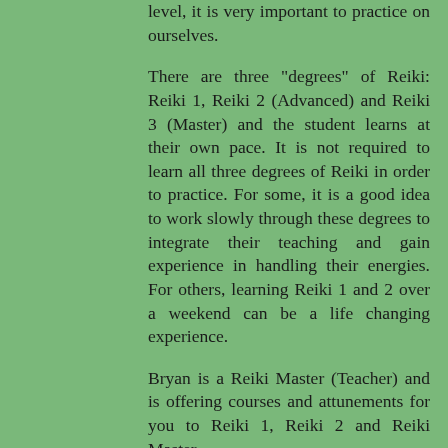level, it is very important to practice on ourselves.
There are three "degrees" of Reiki: Reiki 1, Reiki 2 (Advanced) and Reiki 3 (Master) and the student learns at their own pace. It is not required to learn all three degrees of Reiki in order to practice. For some, it is a good idea to work slowly through these degrees to integrate their teaching and gain experience in handling their energies. For others, learning Reiki 1 and 2 over a weekend can be a life changing experience.
Bryan is a Reiki Master (Teacher) and is offering courses and attunements for you to Reiki 1, Reiki 2 and Reiki Master.
Reiki 1 is a one day course and you will learn how to use Reiki mainly for yourself, relatives and friends.
Reiki 2 is also a one day course and will take you to an advanced practitioner level to treat clients and also teaches you how to use the Reiki symbols for distance healing... (truncated)